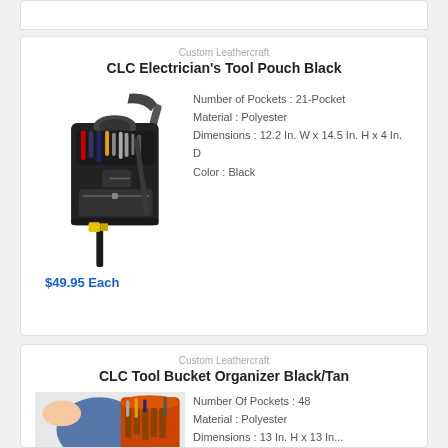Custom Leathercraft
CLC Electrician's Tool Pouch Black
[Figure (photo): CLC Electrician's Tool Pouch Black - a black polyester tool pouch with shoulder strap, filled with tools, and a yellow hammer hanging from the side]
Number of Pockets : 21-Pocket
Material : Polyester
Dimensions : 12.2 In. W x 14.5 In. H x 4 In. D
Color : Black
$49.95 Each
Custom Leathercraft
CLC Tool Bucket Organizer Black/Tan
[Figure (photo): CLC Tool Bucket Organizer Black/Tan - partial view of bucket organizer with tools inside]
Number Of Pockets : 48
Material : Polyester
Dimensions : 13 In. H x 13 In...